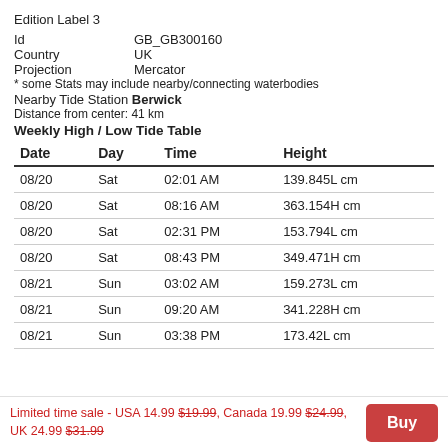Edition Label 3
Id    GB_GB300160
Country    UK
Projection    Mercator
* some Stats may include nearby/connecting waterbodies
Nearby Tide Station Berwick
Distance from center: 41 km
Weekly High / Low Tide Table
| Date | Day | Time | Height |
| --- | --- | --- | --- |
| 08/20 | Sat | 02:01 AM | 139.845L cm |
| 08/20 | Sat | 08:16 AM | 363.154H cm |
| 08/20 | Sat | 02:31 PM | 153.794L cm |
| 08/20 | Sat | 08:43 PM | 349.471H cm |
| 08/21 | Sun | 03:02 AM | 159.273L cm |
| 08/21 | Sun | 09:20 AM | 341.228H cm |
| 08/21 | Sun | 03:38 PM | 173.42L cm |
Limited time sale - USA 14.99 $19.99, Canada 19.99 $24.99, UK 24.99 $31.99
Buy